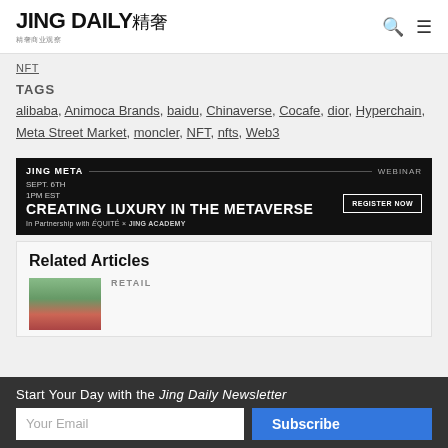JING DAILY 精奢
NFT
TAGS
alibaba, Animoca Brands, baidu, Chinaverse, Cocafe, dior, Hyperchain, Meta Street Market, moncler, NFT, nfts, Web3
[Figure (other): JING META webinar ad banner: CREATING LUXURY IN THE METAVERSE, Sept. 6th 1PM EST, In Partnership with ÉQUITÉ x JING ACADEMY, Register Now button]
Related Articles
RETAIL
Start Your Day with the Jing Daily Newsletter